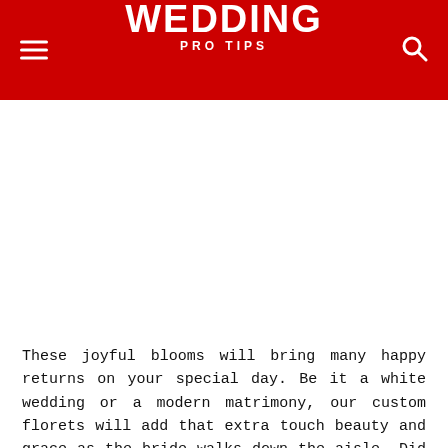WEDDING PRO TIPS
[Figure (other): Advertisement or empty image area below the header]
These joyful blooms will bring many happy returns on your special day. Be it a white wedding or a modern matrimony, our custom florets will add that extra touch beauty and grace as the bride walks down the aisle. Did you know that brides used to carry or wear them as a symbol